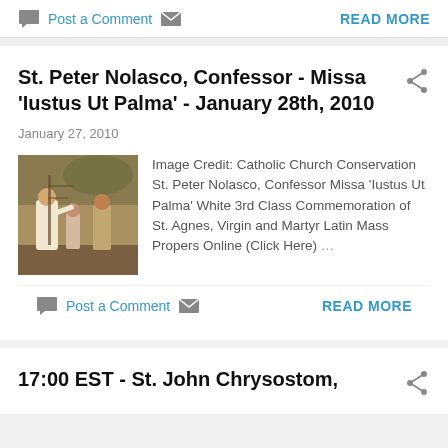Post a Comment  READ MORE
St. Peter Nolasco, Confessor - Missa 'Iustus Ut Palma' - January 28th, 2010
January 27, 2010
[Figure (illustration): Religious painting depicting St. Peter Nolasco scene with robed figures]
Image Credit: Catholic Church Conservation St. Peter Nolasco, Confessor Missa 'Iustus Ut Palma' White 3rd Class Commemoration of St. Agnes, Virgin and Martyr Latin Mass Propers Online (Click Here) ...
Post a Comment  READ MORE
17:00 EST - St. John Chrysostom,